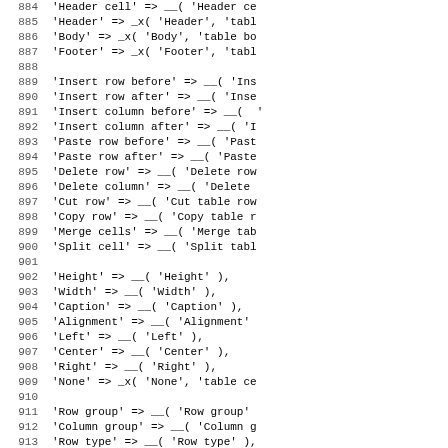884  'Header cell' => __( 'Header ce
885  'Header' => _x( 'Header', 'tabl
886  'Body' => _x( 'Body', 'table bo
887  'Footer' => _x( 'Footer', 'tabl
888
889  'Insert row before' => __( 'Ins
890  'Insert row after' => __( 'Inse
891  'Insert column before' => __( '
892  'Insert column after' => __( 'I
893  'Paste row before' => __( 'Past
894  'Paste row after' => __( 'Paste
895  'Delete row' => __( 'Delete row
896  'Delete column' => __( 'Delete 
897  'Cut row' => __( 'Cut table row
898  'Copy row' => __( 'Copy table r
899  'Merge cells' => __( 'Merge tab
900  'Split cell' => __( 'Split tabl
901
902  'Height' => __( 'Height' ),
903  'Width' => __( 'Width' ),
904  'Caption' => __( 'Caption' ),
905  'Alignment' => __( 'Alignment'
906  'Left' => __( 'Left' ),
907  'Center' => __( 'Center' ),
908  'Right' => __( 'Right' ),
909  'None' => _x( 'None', 'table ce
910
911  'Row group' => __( 'Row group'
912  'Column group' => __( 'Column g
913  'Row type' => __( 'Row type' ),
914  'Cell type' => __( 'Cell type'
915  'Cell padding' => __( 'Cell pa